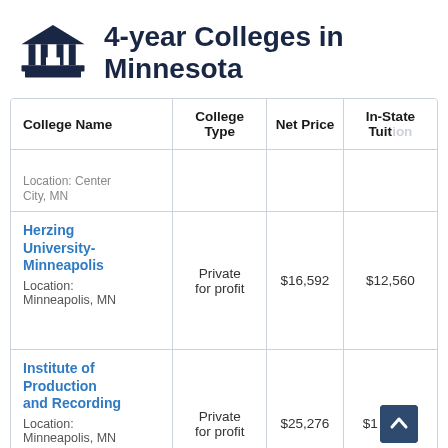4-year Colleges in Minnesota
| College Name | College Type | Net Price | In-State Tuition |
| --- | --- | --- | --- |
| Location: Center City, MN |  |  |  |
| Herzing University-Minneapolis
Location: Minneapolis, MN | Private for profit | $16,592 | $12,560 |
| Institute of Production and Recording
Location: Minneapolis, MN | Private for profit | $25,276 | $1[cut off] |